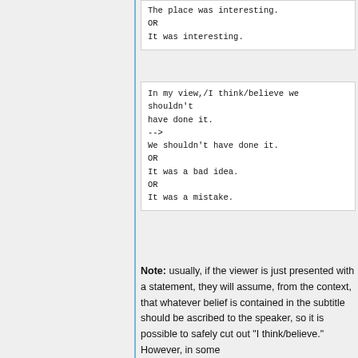The place was interesting.
OR
It was interesting.
In my view,/I think/believe we shouldn't have done it.
-->
We shouldn't have done it.
OR
It was a bad idea.
OR
It was a mistake.
Note: usually, if the viewer is just presented with a statement, they will assume, from the context, that whatever belief is contained in the subtitle should be ascribed to the speaker, so it is possible to safely cut out "I think/believe." However, in some